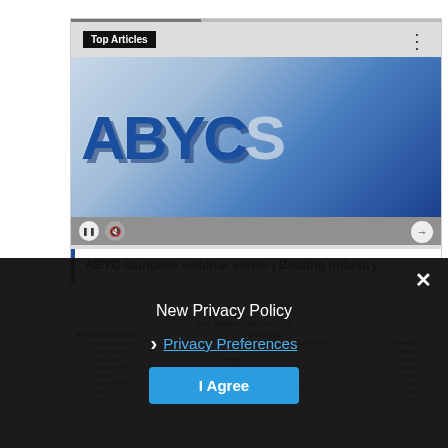[Figure (screenshot): Top Articles widget showing an ABYC logo image with media controls (pause, mute, next arrow). Below the image is an article title: 'ABYC launches webinar series | Boating Industry' with a blue left border. A progress bar appears at the top of the widget and a three-dot menu icon in the top right.]
ABYC launches webinar series | Boating Industry
| TOP MARKETING TACTICS |
| --- |
| MANUFACTURERS |  | DEALERS |
| 1. | Company website |  | 1. | Company/dealer website |
| 2. | Email marketing |  | 2. | Events |
| 3. | Trade shows |  | 3. |  |
| 4. | Print advertising |  | 4. | Email marketing |
| 5. | Facebook |  | 5. | Print advertising/Social |
| 6. | Web Advertising |  | 6. | Events |
| 7. | Events |  | 7. | Web advertising |
| 8. | Direct mail |  | 8. | Direct mail |
New Privacy Policy
Privacy Preferences
I Agree